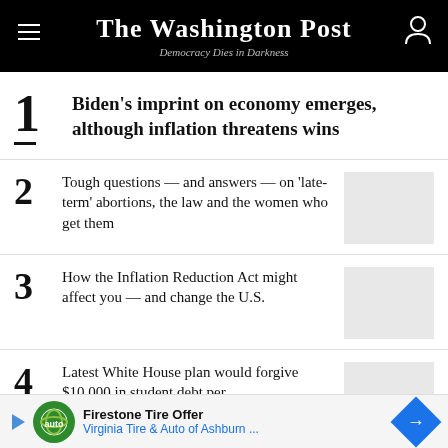The Washington Post — Democracy Dies in Darkness
1 Biden's imprint on economy emerges, although inflation threatens wins
2 Tough questions — and answers — on 'late-term' abortions, the law and the women who get them
3 How the Inflation Reduction Act might affect you — and change the U.S.
4 Latest White House plan would forgive $10,000 in student debt per
Firestone Tire Offer — Virginia Tire & Auto of Ashburn ...